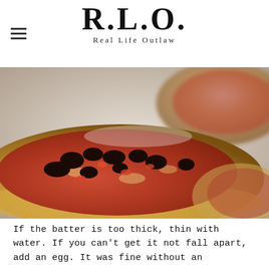R.L.O. Real Life Outlaw
[Figure (photo): Close-up photo of a homemade pizza with tomato sauce and black olives on a light surface, with another pizza blurred in the background]
If the batter is too thick, thin with water. If you can't get it not fall apart, add an egg. It was fine without an